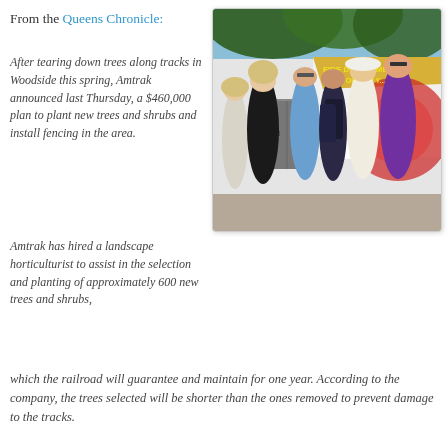From the Queens Chronicle:
After tearing down trees along tracks in Woodside this spring, Amtrak announced last Thursday, a $460,000 plan to plant new trees and shrubs and install fencing in the area.
[Figure (photo): Group of people standing outside near a wall with a Fire Department City of New York mural, with trees visible above.]
Amtrak has hired a landscape horticulturist to assist in the selection and planting of approximately 600 new trees and shrubs, which the railroad will guarantee and maintain for one year. According to the company, the trees selected will be shorter than the ones removed to prevent damage to the tracks.